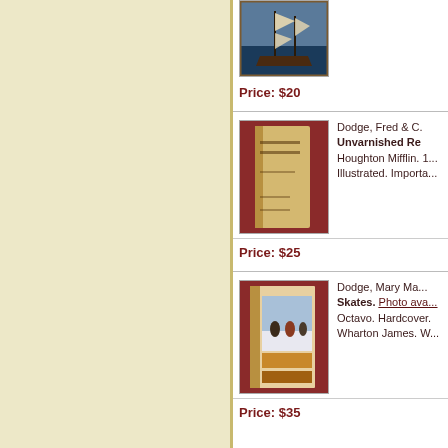[Figure (photo): Book cover showing a sailing ship painting, partial view at top of page]
Price: $20
[Figure (photo): Book spine shown against red background - Dodge, Fred & C, Unvarnished Re...]
Dodge, Fred & C. Unvarnished Re. Houghton Mifflin. 1... Illustrated. Importa...
Price: $25
[Figure (photo): Book with illustrated cover shown against red background - Dodge, Mary Ma, Hans Brinker and the Silver Skates]
Dodge, Mary Ma. Skates. Photo ava... Octavo. Hardcover. Wharton James. W...
Price: $35